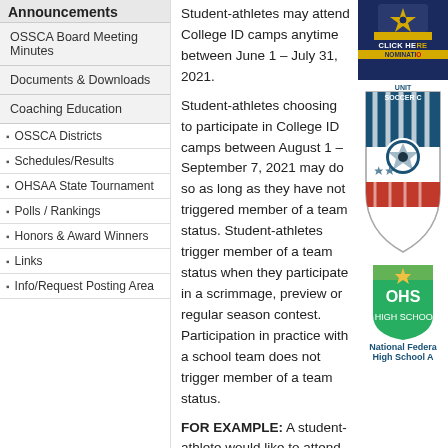Announcements
OSSCA Board Meeting Minutes
Documents & Downloads
Coaching Education
OSSCA Districts
Schedules/Results
OHSAA State Tournament
Polls / Rankings
Honors & Award Winners
Links
Info/Request Posting Area
Student-athletes may attend College ID camps anytime between June 1 – July 31, 2021.
Student-athletes choosing to participate in College ID camps between August 1 – September 7, 2021 may do so as long as they have not triggered member of a team status. Student-athletes trigger member of a team status when they participate in a scrimmage, preview or regular season contest. Participation in practice with a school team does not trigger member of a team status.
FOR EXAMPLE: A student-athlete would like to attend a College ID camp on August 7th. The school team has a scrimmage scheduled for August 4th. He or she may start practicing August 1st with his or her school team but should not participate in the scrimmage on August 4th to be eligible to participate in the College ID Camp on
[Figure (logo): National Guard banner with CLICK HERE and NOMINATION text]
[Figure (logo): United Soccer Coaches logo shield]
[Figure (logo): OHSAA logo]
National Federa High School A